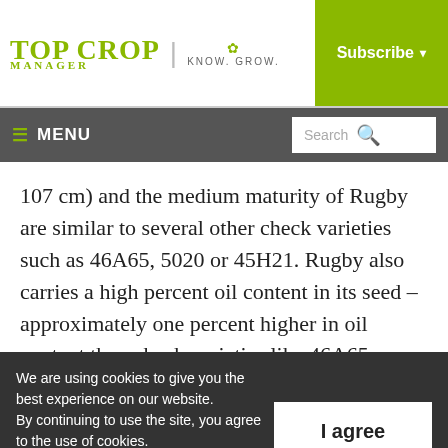Top Crop Manager | Know. Grow. | Subscribe
≡ MENU | Search
107 cm) and the medium maturity of Rugby are similar to several other check varieties such as 46A65, 5020 or 45H21. Rugby also carries a high percent oil content in its seed – approximately one percent higher in oil content than check varieties like 46A65. Dollar
We are using cookies to give you the best experience on our website.
By continuing to use the site, you agree to the use of cookies.
To find out more, read our privacy policy.